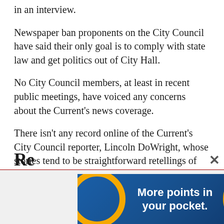in an interview.
Newspaper ban proponents on the City Council have said their only goal is to comply with state law and get politics out of City Hall.
No City Council members, at least in recent public meetings, have voiced any concerns about the Current's news coverage.
There isn't any record online of the Current's City Council reporter, Lincoln DoWright, whose stories tend to be straightforward retellings of City Council meetings.
Wick declined to comment on whether he writes under the identity as a pen name.
[Figure (other): Advertisement banner: blue background with orange circular decorations and white bold text reading 'More points in your pocket.']